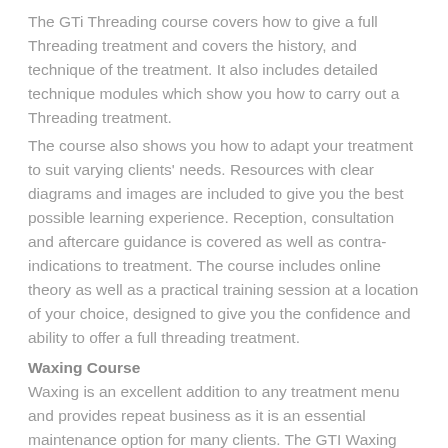The GTi Threading course covers how to give a full Threading treatment and covers the history, and technique of the treatment. It also includes detailed technique modules which show you how to carry out a Threading treatment.
The course also shows you how to adapt your treatment to suit varying clients' needs. Resources with clear diagrams and images are included to give you the best possible learning experience. Reception, consultation and aftercare guidance is covered as well as contra-indications to treatment. The course includes online theory as well as a practical training session at a location of your choice, designed to give you the confidence and ability to offer a full threading treatment.
Waxing Course
Waxing is an excellent addition to any treatment menu and provides repeat business as it is an essential maintenance option for many clients. The GTI Waxing Course meets the Habia National Occupational Standards and covers the various types of hair removal, anatomy and physiology, skin disorders and diseases, contra-actions and contra-indications, reception, consultation,